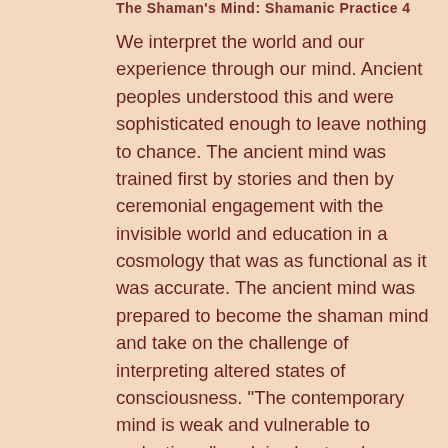The Shaman's Mind: Shamanic Practice 4
We interpret the world and our experience through our mind. Ancient peoples understood this and were sophisticated enough to leave nothing to chance. The ancient mind was trained first by stories and then by ceremonial engagement with the invisible world and education in a cosmology that was as functional as it was accurate. The ancient mind was prepared to become the shaman mind and take on the challenge of interpreting altered states of consciousness. "The contemporary mind is weak and vulnerable to seductions," explains host and shaman, Christina Pratt, "where the story telling is left to the media and ceremony runs from vapid and self centered to empty and self destructive, there is no coherent cosmology to illuminate the way. The mind is utterly unprepared to accurately interpret life itself much less enter altered states reliably. Join us this week as we explore the shaping of the shaman's mind.